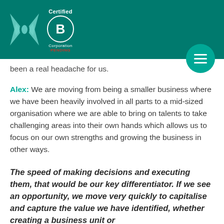[Figure (logo): Teal header bar with an X-shaped logo (two crossing bowtie shapes) and a Certified B Corporation PENDING badge]
been a real headache for us.
Alex: We are moving from being a smaller business where we have been heavily involved in all parts to a mid-sized organisation where we are able to bring on talents to take challenging areas into their own hands which allows us to focus on our own strengths and growing the business in other ways.
The speed of making decisions and executing them, that would be our key differentiator. If we see an opportunity, we move very quickly to capitalise and capture the value we have identified, whether creating a business unit or